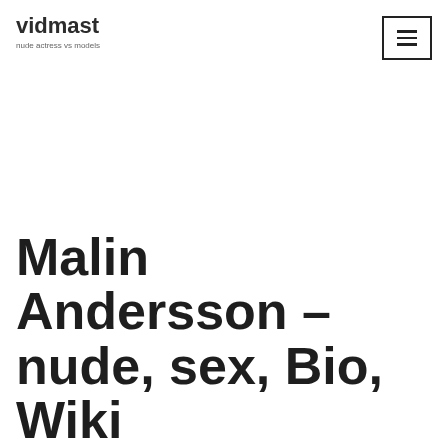vidmast
nude actress vs models
Malin Andersson – nude, sex, Bio, Wiki